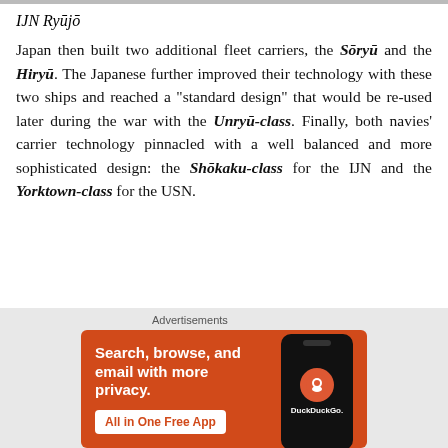IJN Ryūjō
Japan then built two additional fleet carriers, the Sōryū and the Hiryū. The Japanese further improved their technology with these two ships and reached a "standard design" that would be re-used later during the war with the Unryū-class. Finally, both navies' carrier technology pinnacled with a well balanced and more sophisticated design: the Shōkaku-class for the IJN and the Yorktown-class for the USN.
[Figure (photo): DuckDuckGo advertisement banner showing 'Search, browse, and email with more privacy. All in One Free App' with a phone mockup displaying the DuckDuckGo logo.]